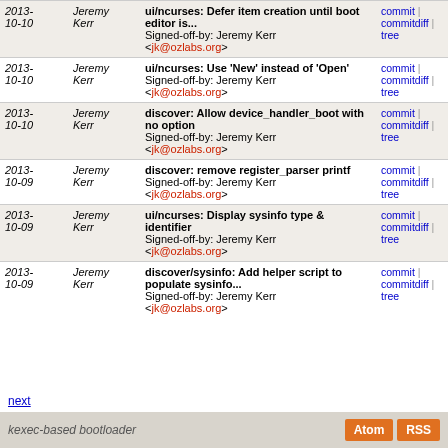| Date | Author | Commit message | Links |
| --- | --- | --- | --- |
| 2013-10-10 | Jeremy Kerr | ui/ncurses: Defer item creation until boot editor is...
Signed-off-by: Jeremy Kerr <jk@ozlabs.org> | commit | commitdiff | tree |
| 2013-10-10 | Jeremy Kerr | ui/ncurses: Use 'New' instead of 'Open'
Signed-off-by: Jeremy Kerr <jk@ozlabs.org> | commit | commitdiff | tree |
| 2013-10-10 | Jeremy Kerr | discover: Allow device_handler_boot with no option
Signed-off-by: Jeremy Kerr <jk@ozlabs.org> | commit | commitdiff | tree |
| 2013-10-09 | Jeremy Kerr | discover: remove register_parser printf
Signed-off-by: Jeremy Kerr <jk@ozlabs.org> | commit | commitdiff | tree |
| 2013-10-09 | Jeremy Kerr | ui/ncurses: Display sysinfo type & identifier
Signed-off-by: Jeremy Kerr <jk@ozlabs.org> | commit | commitdiff | tree |
| 2013-10-09 | Jeremy Kerr | discover/sysinfo: Add helper script to populate sysinfo...
Signed-off-by: Jeremy Kerr <jk@ozlabs.org> | commit | commitdiff | tree |
next
kexec-based bootloader